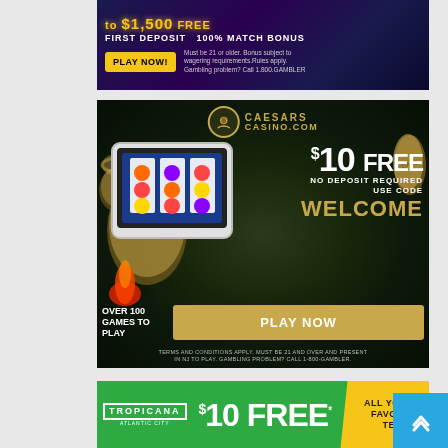[Figure (illustration): Online casino banner ad (partial/cropped at top): Dark purple/navy background with yellow '$1,500 FREE' text, 'FIRST DEPOSIT 100% MATCH BONUS' in white, yellow 'PLAY NOW!' button, disclaimer text about wagering requirements and 1-800-GAMBLER.]
[Figure (illustration): Caesars Casino.com advertisement on dark green background. Logo with Caesars head profile in gold coin/laurel wreath. Tablet device showing slot machine game. Right side: '$10 FREE' in large white text, 'NO DEPOSIT REQUIRED' and 'USE CODE' in white, 'WELCOME' in gold letters. Bottom: 'OVER 100 GAMES TO PLAY' on left, gold 'PLAY NOW' button. Footer: 'TERMS AND CONDITIONS APPLY. MUST BE 21 AND OVER AND PRESENT IN NJ TO PLAY. GAMBLING PROBLEM? CALL 1-800-GAMBLER.']
[Figure (illustration): Tropicana Atlantic City banner ad (partial): Green background with white Tropicana logo box, '$10 FREE*' in large white text, diagonal yellow banner on right with 'ALL YOUR FAVORITE' text (partially visible).]